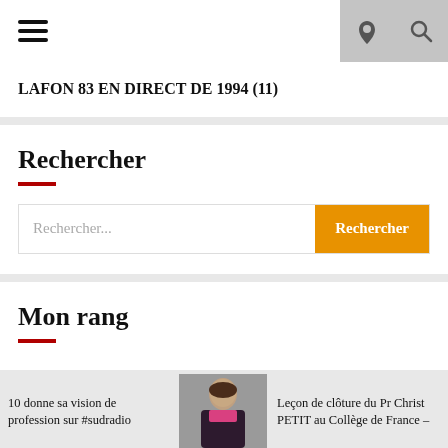≡  ☾ 🔍
LAFON 83 EN DIRECT DE 1994 (11)
Rechercher
Rechercher...  [Rechercher button]
Mon rang
10 donne sa vision de profession sur #sudradio
[Figure (photo): Photo of a woman in a dark jacket with pink blouse]
Leçon de clôture du Pr Christ PETIT au Collège de France –